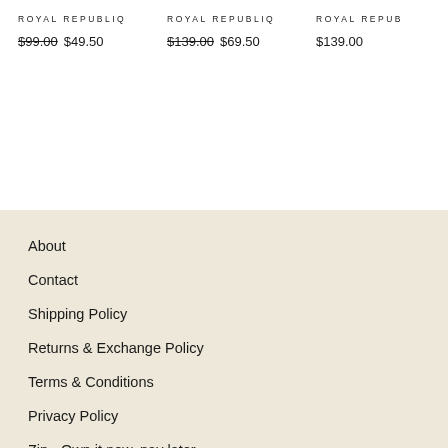ROYAL REPUBLIQ
$99.00  $49.50
ROYAL REPUBLIQ
$139.00  $69.50
ROYAL REPUB
$139.00
About
Contact
Shipping Policy
Returns & Exchange Policy
Terms & Conditions
Privacy Policy
Zip - Own it now, pay later
[Figure (other): Payment method icons: Visa, Mastercard, Amex, PayPal, Apple Pay, Google Pay]